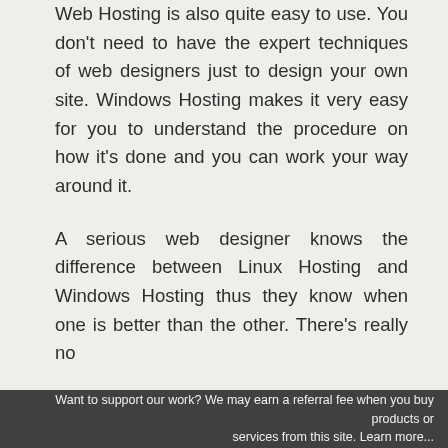Web Hosting is also quite easy to use. You don't need to have the expert techniques of web designers just to design your own site. Windows Hosting makes it very easy for you to understand the procedure on how it's done and you can work your way around it.
A serious web designer knows the difference between Linux Hosting and Windows Hosting thus they know when one is better than the other. There's really no
Want to support our work? We may earn a referral fee when you buy products or services from this site. Learn more...